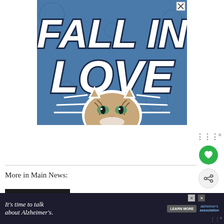[Figure (illustration): Advertisement banner showing 'FALL IN LOVE' text in large bold italic white font with dark outline on a blue background, with a cat face photo in the lower center surrounded by decorative white lines radiating outward. An X close button is in the top right corner.]
More in Main News:
[Figure (photo): News article thumbnail image with dark background showing TVC for World Mixed Doubles text]
Snooker this month: September
[Figure (illustration): Bottom advertisement banner with dark navy background reading "It's time to talk about Alzheimer's." with a LEARN MORE button and Alzheimer's Association logo]